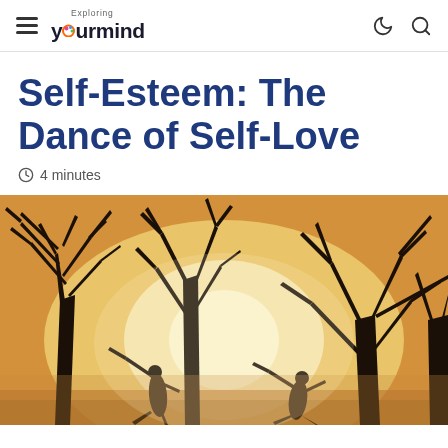Exploring yourmind — navigation header with hamburger menu, logo, moon icon, and search icon
Self-Esteem: The Dance of Self-Love
4 minutes
[Figure (photo): Atmospheric golden misty photo showing silhouettes of bare twisted trees and two human figures in dance-like poses against a warm glowing sunset background]